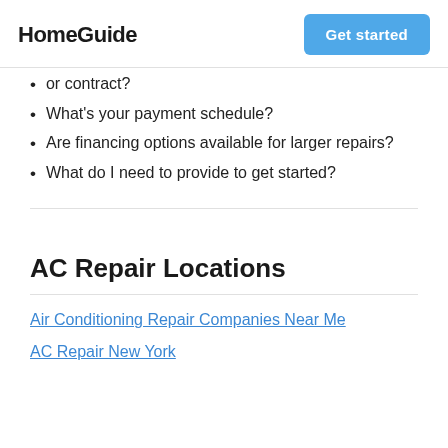HomeGuide | Get started
or contract?
What's your payment schedule?
Are financing options available for larger repairs?
What do I need to provide to get started?
AC Repair Locations
Air Conditioning Repair Companies Near Me
AC Repair New York